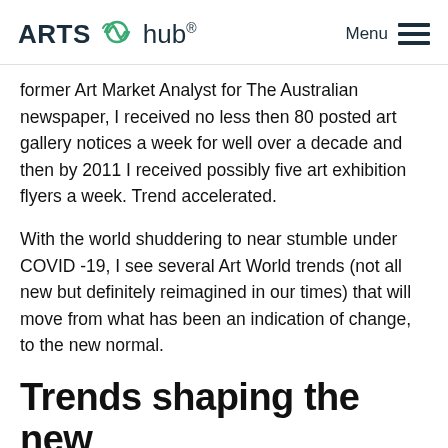ARTS hub® Menu
former Art Market Analyst for The Australian newspaper, I received no less then 80 posted art gallery notices a week for well over a decade and then by 2011 I received possibly five art exhibition flyers a week. Trend accelerated.
With the world shuddering to near stumble under COVID -19, I see several Art World trends (not all new but definitely reimagined in our times) that will move from what has been an indication of change, to the new normal.
Trends shaping the new